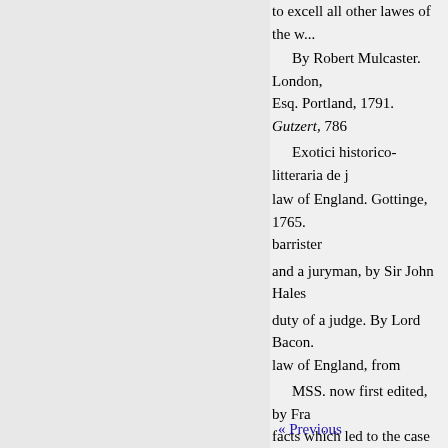to excell all other lawes of the w...
By Robert Mulcaster. London, ... Esq. Portland, 1791. Gutzert, 786...
Exotici historico-litteraria de j...
law of England. Gottinge, 1765. ... barrister
and a juryman, by Sir John Hales...
duty of a judge. By Lord Bacon. ... law of England, from
MSS. now first edited, by Fra... facts which led to the case of Sto...
Hopkins. By Thomas Hopkins... London, 1739. Jefferson, 2150, D...
Washington, 1822. Jones, 185... 1464, 0. Historical law tracts. By... relative to the will of Samuel Flo...
&c. By Dr. John Kearsley, jr. R...
« Previous